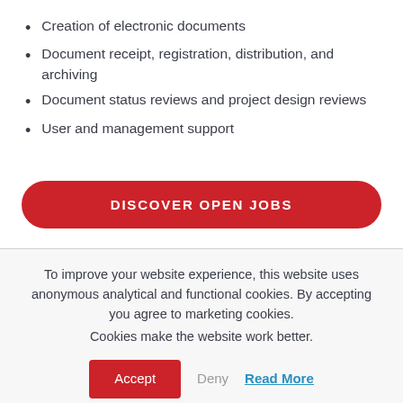Creation of electronic documents
Document receipt, registration, distribution, and archiving
Document status reviews and project design reviews
User and management support
DISCOVER OPEN JOBS
To improve your website experience, this website uses anonymous analytical and functional cookies. By accepting you agree to marketing cookies. Cookies make the website work better.
Accept  Deny  Read More